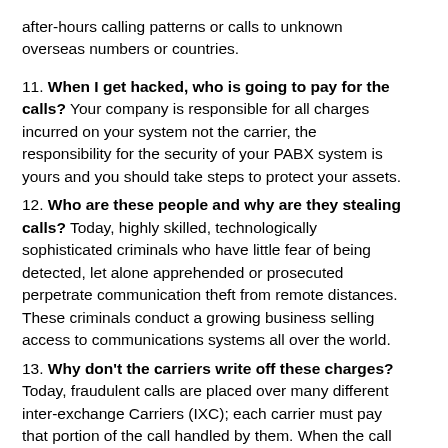after-hours calling patterns or calls to unknown overseas numbers or countries.
11. When I get hacked, who is going to pay for the calls? Your company is responsible for all charges incurred on your system not the carrier, the responsibility for the security of your PABX system is yours and you should take steps to protect your assets.
12. Who are these people and why are they stealing calls? Today, highly skilled, technologically sophisticated criminals who have little fear of being detected, let alone apprehended or prosecuted perpetrate communication theft from remote distances. These criminals conduct a growing business selling access to communications systems all over the world.
13. Why don't the carriers write off these charges? Today, fraudulent calls are placed over many different inter-exchange Carriers (IXC); each carrier must pay that portion of the call handled by them. When the call is placed to an international location the domestic carrier must pay the foreign carrier regardless of the fraud. You the end user control access to your PABX system not your telecommunication provider so you are responsible for the charges incurred.
14. Why is identifying or stopping the fraudulent calls the customer's responsibility? Only the customer can differentiate legitimate calls from fraudulent ones. The carriers do not have access